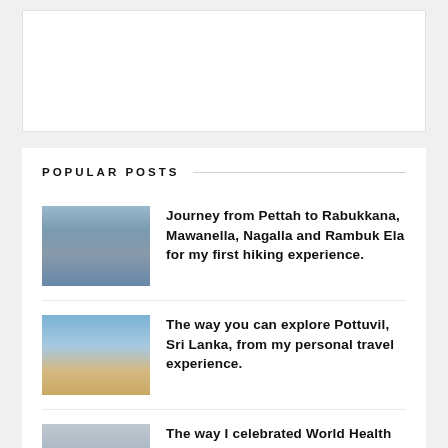[Figure (other): White advertisement/banner box placeholder]
POPULAR POSTS
[Figure (photo): Photo of people with masks at a station, hiking trip]
Journey from Pettah to Rabukkana, Mawanella, Nagalla and Rambuk Ela for my first hiking experience.
[Figure (photo): Photo of people on a beach, Pottuvil Sri Lanka]
The way you can explore Pottuvil, Sri Lanka, from my personal travel experience.
[Figure (photo): Photo of a woman at Arcade, World Health Day]
The way I celebrated World Health Day at Arcade on 07th April 2019 with United Nation Volunteering Team